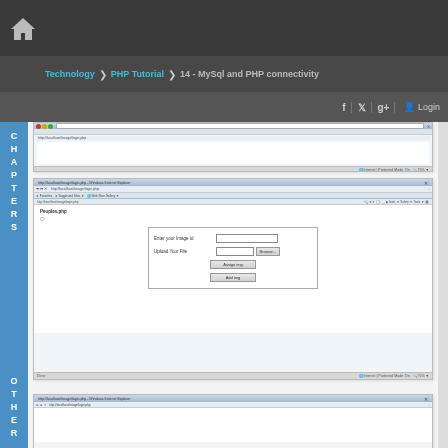Technology > PHP Tutorial > 14 - MySql and PHP connectivity
[Figure (screenshot): Browser screenshot showing a mostly blank page, partially cut off at top]
[Figure (screenshot): Browser screenshot showing a PHP form page with fields: Enter your Image Id, Upload Your File, with Browse button, and two action buttons (Assign img, Add img)]
[Figure (screenshot): Partial browser screenshot at bottom of page, partially cut off]